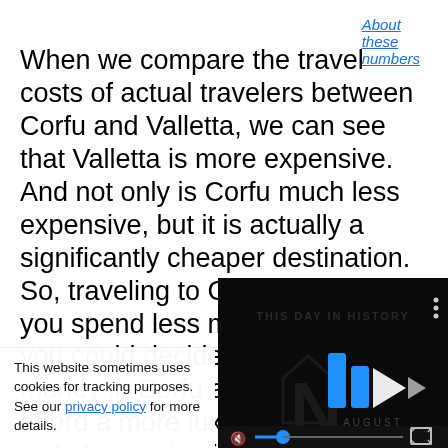About these numbers
When we compare the travel costs of actual travelers between Corfu and Valletta, we can see that Valletta is more expensive. And not only is Corfu much less expensive, but it is actually a significantly cheaper destination. So, traveling to Corfu would let you spend less money overall. Or, you could decide to spend more money in Corfu and be able to afford a more luxurious travel style by staying in nicer ho... expensive restau...
[Figure (screenshot): Video overlay showing 'This Day in History' with play button and progress bar, blue logo, dark background]
This website sometimes uses cookies for tracking purposes. See our privacy policy for more details.